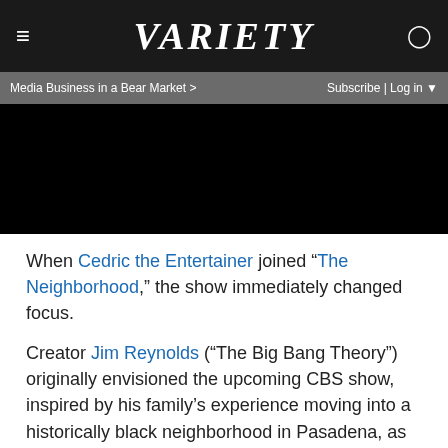VARIETY
Media Business in a Bear Market >   Subscribe | Log in
[Figure (other): Black video player or image placeholder]
When Cedric the Entertainer joined “The Neighborhood,” the show immediately changed focus.
Creator Jim Reynolds (“The Big Bang Theory”) originally envisioned the upcoming CBS show, inspired by his family’s experience moving into a historically black neighborhood in Pasadena, as told through the perspective of his small-screen alter ego. Cedric’s arrival as star and executive producer called for a different approach.
Right off the bat, Cedric told Reynolds that he had a strong point of view, and the showrunner welcomed the input. “He gave us the benefit of having an authentic African-American